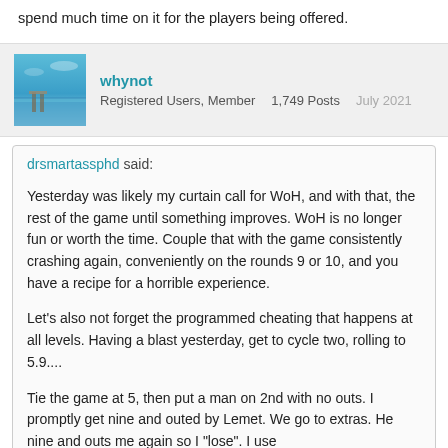spend much time on it for the players being offered.
whynot
Registered Users, Member    1,749 Posts    July 2021
drsmartassphd said:
Yesterday was likely my curtain call for WoH, and with that, the rest of the game until something improves. WoH is no longer fun or worth the time. Couple that with the game consistently crashing again, conveniently on the rounds 9 or 10, and you have a recipe for a horrible experience.
Let's also not forget the programmed cheating that happens at all levels. Having a blast yesterday, get to cycle two, rolling to 5.9....
Tie the game at 5, then put a man on 2nd with no outs. I promptly get nine and outed by Lemet. We go to extras. He nine and outs me again so I "lose". I use